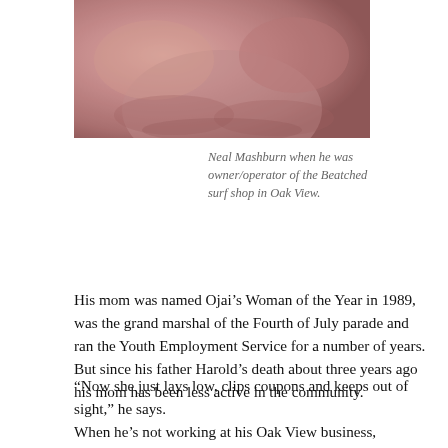[Figure (photo): Close-up photograph of Neal Mashburn's face, showing reddish skin tone]
Neal Mashburn when he was owner/operator of the Beatched surf shop in Oak View.
His mom was named Ojai's Woman of the Year in 1989, was the grand marshal of the Fourth of July parade and ran the Youth Employment Service for a number of years. But since his father Harold's death about three years ago his mom has been less active in the community.
“Now she just lays low, clips coupons and keeps out of sight,” he says.
When he’s not working at his Oak View business, Beatched, he helps her with yard work and has often thought of writing a book. He’ll call it, “Thoughts of Pop